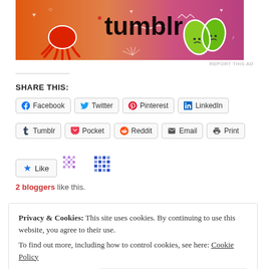[Figure (illustration): Tumblr advertisement banner with orange-to-pink gradient background, featuring cartoon illustrations of a red crab/squid, green leaf characters, white doodles (hearts, waves, arrows), and the word 'tumblr' in large bold black text]
REPORT THIS AD
SHARE THIS:
Facebook Twitter Pinterest LinkedIn Tumblr Pocket Reddit Email Print
Like
2 bloggers like this.
Privacy & Cookies: This site uses cookies. By continuing to use this website, you agree to their use.
To find out more, including how to control cookies, see here: Cookie Policy
Close and accept